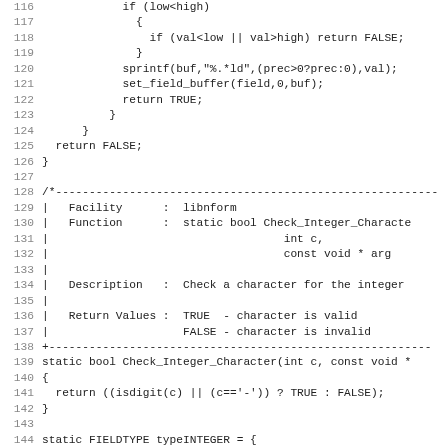Source code listing, lines 116-147, C programming language code for integer field type checking in libnform library.